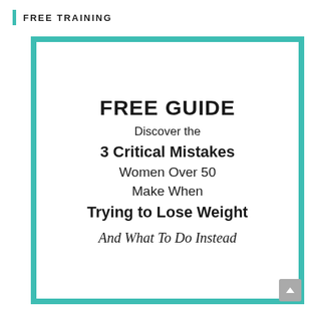FREE TRAINING
[Figure (infographic): Teal-bordered white box containing promotional text for a free guide about 3 Critical Mistakes Women Over 50 Make When Trying to Lose Weight, And What To Do Instead]
FREE GUIDE
Discover the 3 Critical Mistakes Women Over 50 Make When Trying to Lose Weight And What To Do Instead